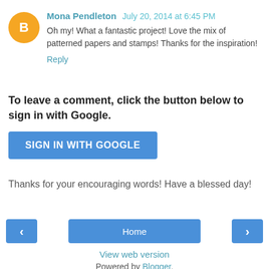Mona Pendleton  July 20, 2014 at 6:45 PM
Oh my! What a fantastic project! Love the mix of patterned papers and stamps! Thanks for the inspiration!
Reply
To leave a comment, click the button below to sign in with Google.
[Figure (other): Blue button labeled SIGN IN WITH GOOGLE]
Thanks for your encouraging words! Have a blessed day!
[Figure (other): Navigation bar with left arrow button, Home button, and right arrow button]
View web version
Powered by Blogger.